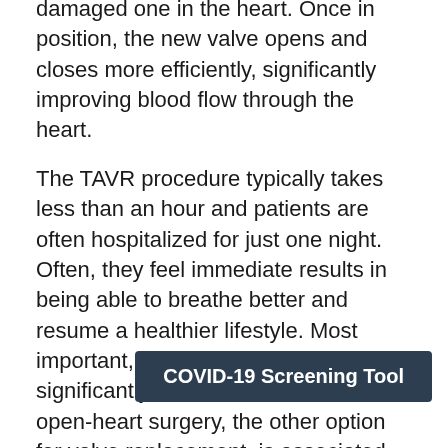damaged one in the heart. Once in position, the new valve opens and closes more efficiently, significantly improving blood flow through the heart.
The TAVR procedure typically takes less than an hour and patients are often hospitalized for just one night. Often, they feel immediate results in being able to breathe better and resume a healthier lifestyle. Most important, their risk for heart failure is significantly reduced. In contrast, open-heart surgery, the other option for valve replacement, is associated with increased risks and involves a lengthy hospitalization and recovery.
"One thing that's important to underscore as the pandemic continues is the importance of not delaying necessary medical care," Taylor added. "In too many cases, people are putting off procedures and care - including for serious heart conditions - that should not be put on hold. O[...] s not overwhelmed like we've seen [...] hospital is among the safest possible places to receive care.
[Figure (other): COVID-19 Screening Tool button/banner overlay]